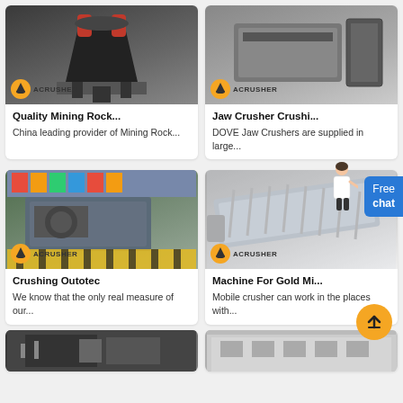[Figure (photo): Mining rock crusher machine - ACRUSHER brand, black and red industrial equipment]
Quality Mining Rock...
China leading provider of Mining Rock...
[Figure (photo): Jaw crusher large industrial machine - ACRUSHER brand]
Jaw Crusher Crushi...
DOVE Jaw Crushers are supplied in large...
[Figure (photo): Crushing Outotec industrial crusher machine with flags in background - ACRUSHER brand]
Crushing Outotec
We know that the only real measure of our...
[Figure (photo): Machine for gold mining - vibrating screen conveyor equipment - ACRUSHER brand]
Machine For Gold Mi...
Mobile crusher can work in the places with...
[Figure (photo): Bottom partial image - industrial machinery black and white]
[Figure (photo): Bottom partial image - industrial building/machinery]